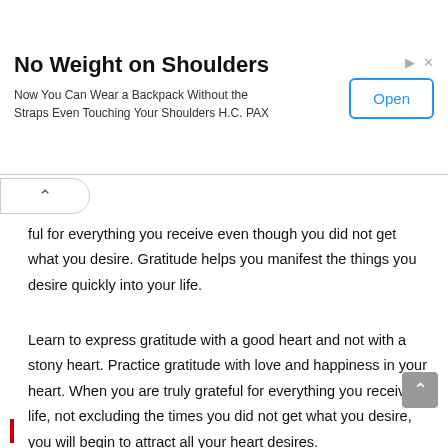[Figure (screenshot): Advertisement banner: 'No Weight on Shoulders' with subtitle 'Now You Can Wear a Backpack Without the Straps Even Touching Your Shoulders H.C. PAX' and an Open button]
ful for everything you receive even though you did not get what you desire. Gratitude helps you manifest the things you desire quickly into your life.
Learn to express gratitude with a good heart and not with a stony heart. Practice gratitude with love and happiness in your heart. When you are truly grateful for everything you receive in life, not excluding the times you did not get what you desire, you will begin to attract all your heart desires.
Thanks for reading.